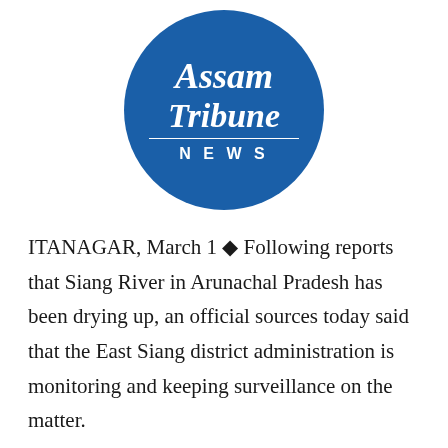[Figure (logo): Assam Tribune NEWS circular logo — blue circle with white old-English style text reading 'Assam Tribune' and 'NEWS' in sans-serif below a horizontal divider line]
ITANAGAR, March 1 ◆ Following reports that Siang River in Arunachal Pradesh has been drying up, an official sources today said that the East Siang district administration is monitoring and keeping surveillance on the matter.